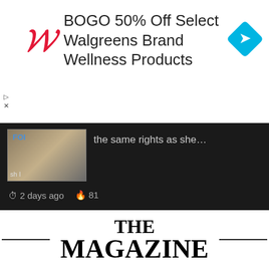[Figure (advertisement): Walgreens advertisement banner: BOGO 50% Off Select Walgreens Brand Wellness Products, with red cursive Walgreens W logo and blue diamond direction icon]
the same rights as she…
⏱ 2 days ago 🔥 81
On The Run For 20 Years, Ex-Bihar MLA Arrested Near Nepal Border: Cops
Motihari: Former Bihar MLA Ranjan Tiwary, on the run for over two…
THE MAGAZINE